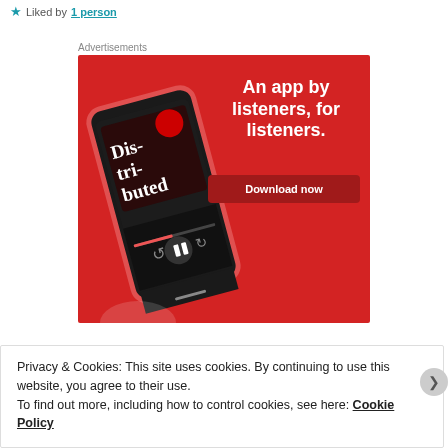Liked by 1 person
Advertisements
[Figure (screenshot): Red advertisement banner for a podcast app showing a smartphone with 'Distributed' podcast displayed, text 'An app by listeners, for listeners.' and a 'Download now' button]
Privacy & Cookies: This site uses cookies. By continuing to use this website, you agree to their use.
To find out more, including how to control cookies, see here: Cookie Policy
Close and accept